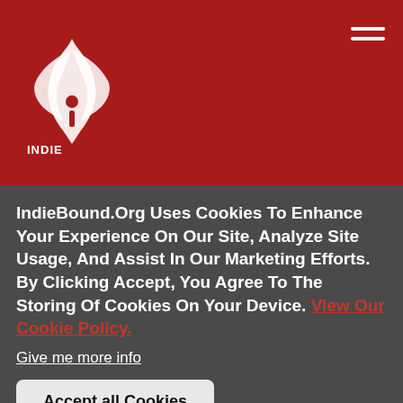[Figure (logo): IndieBound logo — white feather/book graphic with 'INDIE BOUND' text on dark red header background]
571-207-5238
6.2 mi
Scrawl Books
11911 Freedom Drive
Reston, VA 20190
571-312-1158
IndieBound.Org Uses Cookies To Enhance Your Experience On Our Site, Analyze Site Usage, And Assist In Our Marketing Efforts. By Clicking Accept, You Agree To The Storing Of Cookies On Your Device. View Our Cookie Policy.
Give me more info
Accept all Cookies